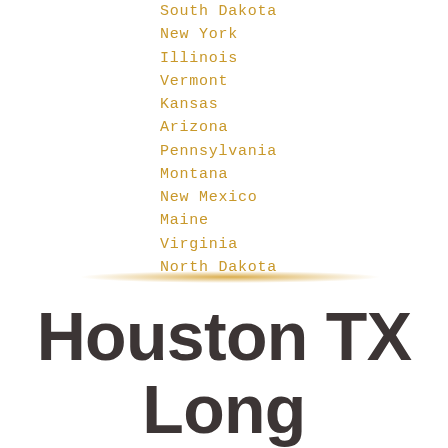South Dakota
New York
Illinois
Vermont
Kansas
Arizona
Pennsylvania
Montana
New Mexico
Maine
Virginia
North Dakota
Houston TX Long Distance